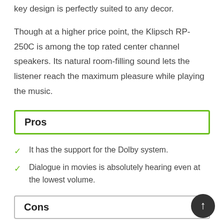key design is perfectly suited to any decor.
Though at a higher price point, the Klipsch RP-250C is among the top rated center channel speakers. Its natural room-filling sound lets the listener reach the maximum pleasure while playing the music.
Pros
It has the support for the Dolby system.
Dialogue in movies is absolutely hearing even at the lowest volume.
Cons